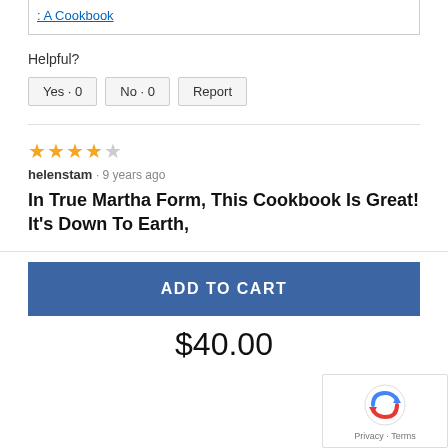: A Cookbook
Helpful?
Yes · 0   No · 0   Report
★★★★☆ helenstam · 9 years ago
In True Martha Form, This Cookbook Is Great! It's Down To Earth,
ADD TO CART
$40.00